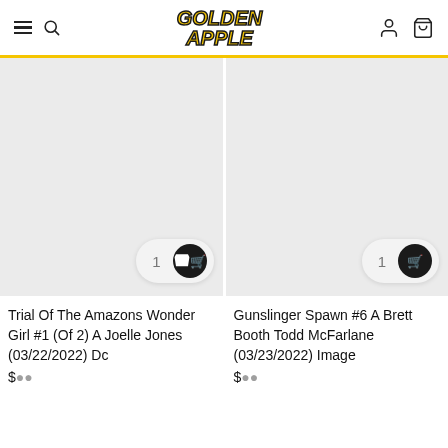Golden Apple – navigation header with hamburger menu, search, logo, account and cart icons
[Figure (screenshot): Product card: blank grey image placeholder for Trial Of The Amazons Wonder Girl #1 (Of 2) A Joelle Jones (03/22/2022) Dc with add-to-cart button]
[Figure (screenshot): Product card: blank grey image placeholder for Gunslinger Spawn #6 A Brett Booth Todd McFarlane (03/23/2022) Image with add-to-cart button]
Trial Of The Amazons Wonder Girl #1 (Of 2) A Joelle Jones (03/22/2022) Dc
Gunslinger Spawn #6 A Brett Booth Todd McFarlane (03/23/2022) Image